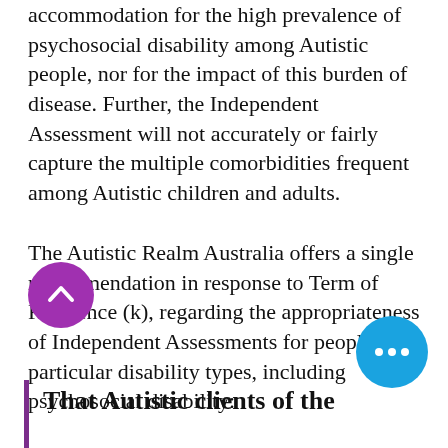accommodation for the high prevalence of psychosocial disability among Autistic people, nor for the impact of this burden of disease. Further, the Independent Assessment will not accurately or fairly capture the multiple comorbidities frequent among Autistic children and adults.
The Autistic Realm Australia offers a single recommendation in response to Term of Reference (k), regarding the appropriateness of Independent Assessments for people with particular disability types, including psychosocial disability:
That Autistic clients of the